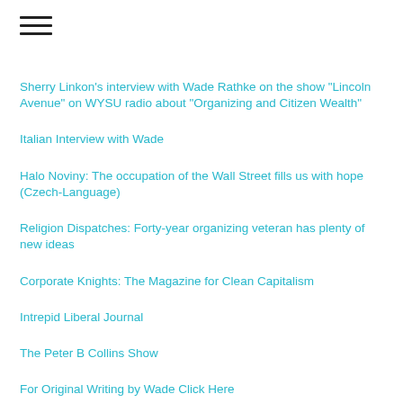Sherry Linkon's interview with Wade Rathke on the show "Lincoln Avenue" on WYSU radio about "Organizing and Citizen Wealth"
Italian Interview with Wade
Halo Noviny: The occupation of the Wall Street fills us with hope (Czech-Language)
Religion Dispatches: Forty-year organizing veteran has plenty of new ideas
Corporate Knights: The Magazine for Clean Capitalism
Intrepid Liberal Journal
The Peter B Collins Show
For Original Writing by Wade Click Here